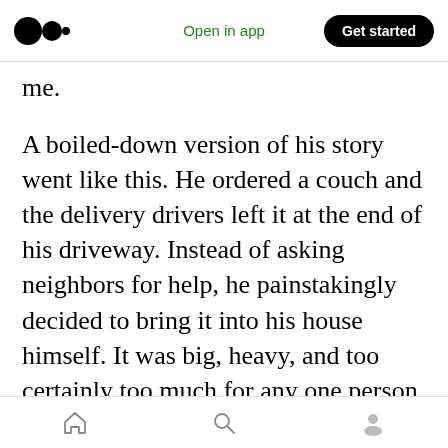Open in app | Get started
me.
A boiled-down version of his story went like this. He ordered a couch and the delivery drivers left it at the end of his driveway. Instead of asking neighbors for help, he painstakingly decided to bring it into his house himself. It was big, heavy, and too certainly too much for any one person to do alone. However, he persisted. He maneuvered it up his driveway and into his house.
When his wife came home and ask him about it, he told her he had done it himself. The couch was
home | search | profile